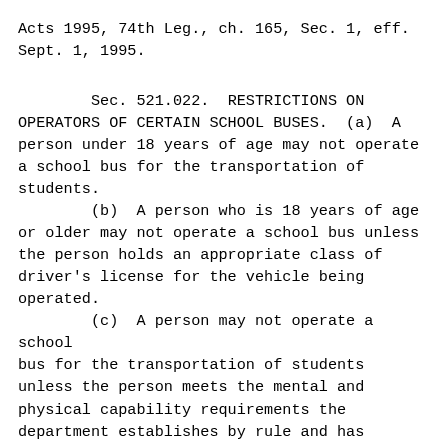Acts 1995, 74th Leg., ch. 165, Sec. 1, eff. Sept. 1, 1995.
Sec. 521.022.  RESTRICTIONS ON OPERATORS OF CERTAIN SCHOOL BUSES.  (a)  A person under 18 years of age may not operate a school bus for the transportation of students.
        (b)  A person who is 18 years of age or older may not operate a school bus unless the person holds an appropriate class of driver's license for the vehicle being operated.
        (c)  A person may not operate a school bus for the transportation of students unless the person meets the mental and physical capability requirements the department establishes by rule and has